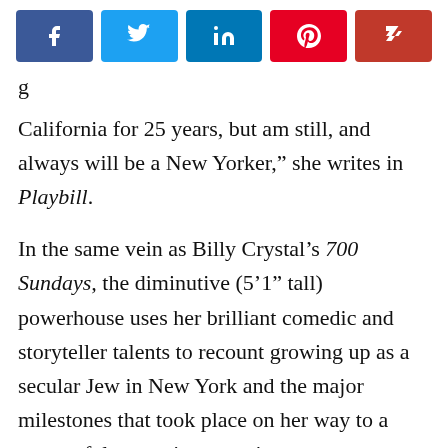[Figure (other): Social media share buttons row: Facebook (blue), Twitter (light blue), LinkedIn (dark blue), Pinterest (red), Flipboard (dark red)]
California for 25 years, but am still, and always will be a New Yorker,” she writes in Playbill.
In the same vein as Billy Crystal’s 700 Sundays, the diminutive (5’1” tall) powerhouse uses her brilliant comedic and storyteller talents to recount growing up as a secular Jew in New York and the major milestones that took place on her way to a successful career in entertainment.